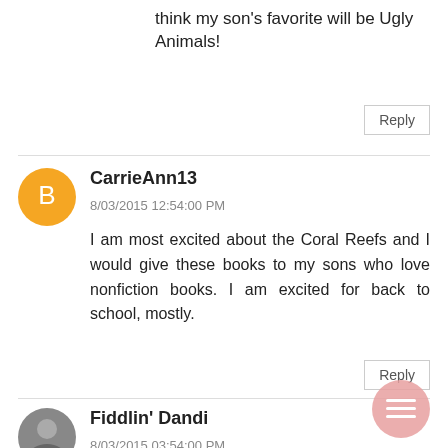think my son's favorite will be Ugly Animals!
Reply
CarrieAnn13
8/03/2015 12:54:00 PM
I am most excited about the Coral Reefs and I would give these books to my sons who love nonfiction books. I am excited for back to school, mostly.
Reply
Fiddlin' Dandi
8/03/2015 03:54:00 PM
My son would be so excited to get the "Dig" book!